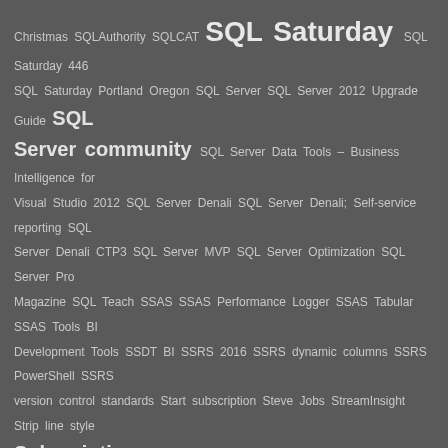[Figure (infographic): Tag cloud on dark gray background featuring SQL Server, SSRS, SSAS, Tabular Model and related topics. Prominent large terms include 'SQL Saturday', 'SQL Server community', 'Subscription', 'Top values'. Smaller terms include Christmas, SQLAuthority, SQLCAT, SQL Saturday 446, Portland Oregon, Upgrade Guide, Data Tools, Business Intelligence, Visual Studio 2012, Denali, CTP3, MVP, Optimization, Pro Magazine, Teach, SSAS Performance Logger, SSAS Tabular, SSAS Tools, BI Development Tools, SSDT BI, SSRS 2016, dynamic columns, PowerShell, version control standards, Start subscription, Steve Jobs, StreamInsight, Strip line style, Survival Tips, Tabular DAX, Tabular Model & ', Tabular Model Common Errors and Remedies, Tabular Model Design, Tabular Model Design Checklist, Tabular Modeling, Tabular models, Tabular report design, TechEd, TechEd 2011 Sessions, TechSmith Snagit Pro, themes, Threshold line, Training clsses, Unconference, User-related report content, User authentication, User prompted to login, Using DAX to Solve real-World Business Scenarios, Vancouver BC, Vern Rabe, Visualisation, Visualization, Visual Report Design, Volunteers, Weather and Climate, Web.Contents, Web API, What About Multidimensional, Will Tabular Replace It?, Naming Conventions for Tabular Model Objects?, What Do You Teach Non-technical Business Users About PowerPivot and Tabular Models?, What's the Best Business User Tool for Browsing & Analyzing Business Data with Tabular Models?, What's the Best IT Tool for Reporting on Tabular Models?, What's the Difference Between Calculated Columns & Measures?, What's the Difference Between PowerPivot and Tabular Models?, Why Tabular?, Wrox]